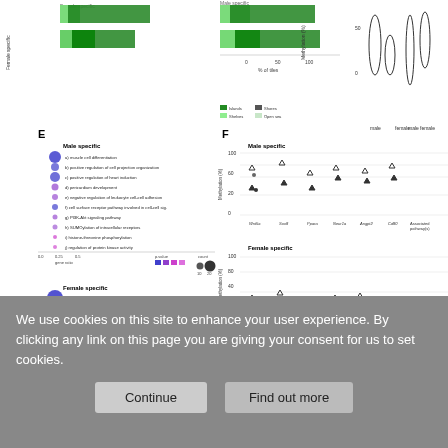[Figure (other): Scientific figure panels E and F showing gene ontology dot plots for male-specific and female-specific pathways, and methylation scatter plots for various genes (Wnt5a, Sox8, Ppara, Neur1a, Angpt2, Cd80 in male-specific panel; Cttnbp2, Hmgb3, Hdac8, Zfx, Arx, Zic3 in female-specific panel). Also includes bar charts for % of tiles and violin plots for methylation by sex.]
Download figure
Open in new tab
We use cookies on this site to enhance your user experience. By clicking any link on this page you are giving your consent for us to set cookies.
Continue
Find out more